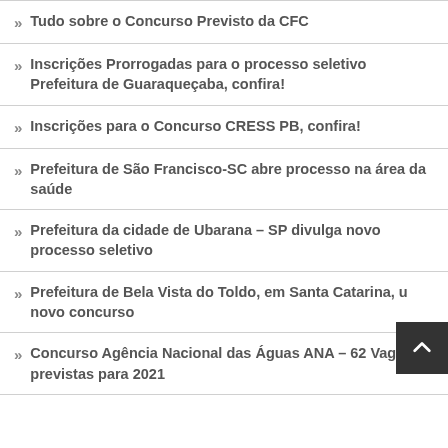Tudo sobre o Concurso Previsto da CFC
Inscrições Prorrogadas para o processo seletivo Prefeitura de Guaraqueçaba, confira!
Inscrições para o Concurso CRESS PB, confira!
Prefeitura de São Francisco-SC abre processo na área da saúde
Prefeitura da cidade de Ubarana – SP divulga novo processo seletivo
Prefeitura de Bela Vista do Toldo, em Santa Catarina, u novo concurso
Concurso Agência Nacional das Águas ANA – 62 Vagas previstas para 2021